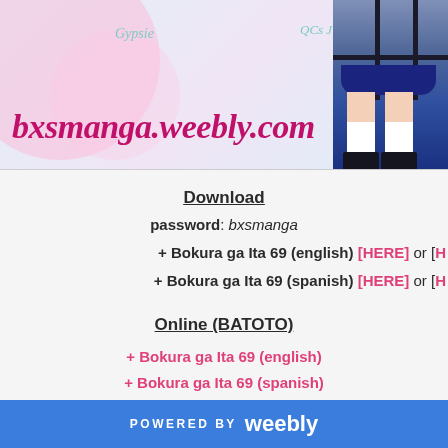[Figure (screenshot): Website header banner for bxsmanga.weebly.com with pink/blue pastel background, decorative circles, anime schoolgirl figure on right, text 'Gypsie' and 'QCs Jivnock' in teal handwriting font, and site title 'bxsmanga.weebly.com' in bold italic magenta/pink serif font]
Download
password: bxsmanga
+ Bokura ga Ita 69 (english) [HERE] or [H
+ Bokura ga Ita 69 (spanish) [HERE] or [H
Online (BATOTO)
+ Bokura ga Ita 69 (english)
+ Bokura ga Ita 69 (spanish)
POWERED BY weebly